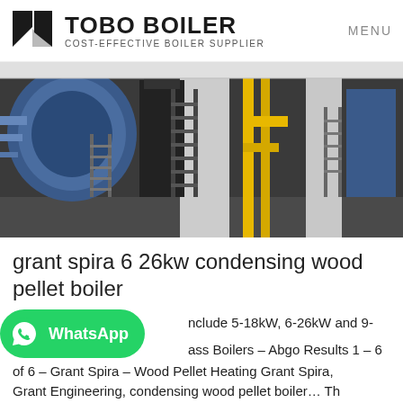TOBO BOILER – COST-EFFECTIVE BOILER SUPPLIER | MENU
[Figure (photo): Industrial boiler room with large blue cylindrical boilers, yellow piping, metal staircases and ladders on a concrete floor.]
grant spira 6 26kw condensing wood pellet boiler
include 5-18kW, 6-26kW and 9- ass Boilers – Abgo Results 1 – 6 of 6 – Grant Spira – Wood Pellet Heating Grant Spira, Grant Engineering, condensing wood pellet boiler… Th